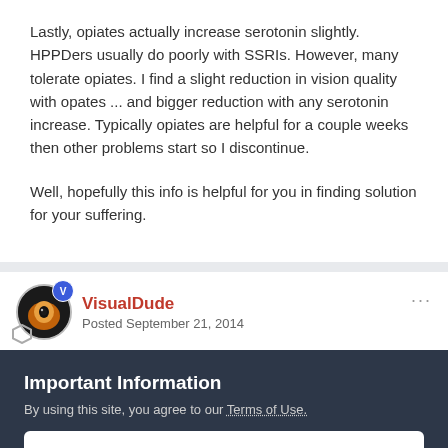Lastly, opiates actually increase serotonin slightly.  HPPDers usually do poorly with SSRIs.  However, many tolerate opiates.  I find a slight reduction in vision quality with opates ... and bigger reduction with any serotonin increase.  Typically opiates are helpful for a couple weeks then other problems start so I discontinue.
Well, hopefully this info is helpful for you in finding solution for your suffering.
VisualDude
Posted September 21, 2014
Important Information
By using this site, you agree to our Terms of Use.
✔  I accept